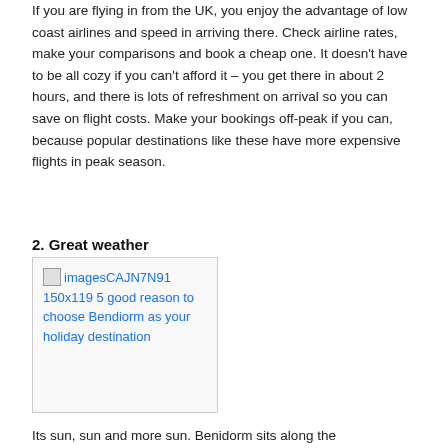If you are flying in from the UK, you enjoy the advantage of low coast airlines and speed in arriving there. Check airline rates, make your comparisons and book a cheap one. It doesn't have to be all cozy if you can't afford it – you get there in about 2 hours, and there is lots of refreshment on arrival so you can save on flight costs. Make your bookings off-peak if you can, because popular destinations like these have more expensive flights in peak season.
2. Great weather
[Figure (photo): Broken image placeholder with alt text: imagesCAJN7N91 150x119 5 good reason to choose Bendiorm as your holiday destination]
Its sun, sun and more sun. Benidorm sits along the Mediterranean coast, and as you can imagine with many of the towns that are situated here, they get sunshine for